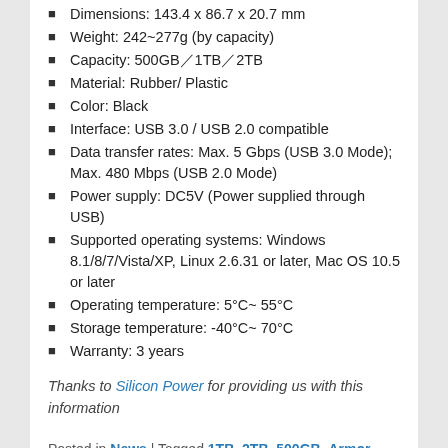Dimensions: 143.4 x 86.7 x 20.7 mm
Weight: 242~277g (by capacity)
Capacity: 500GB／1TB／2TB
Material: Rubber/ Plastic
Color: Black
Interface: USB 3.0 / USB 2.0 compatible
Data transfer rates: Max. 5 Gbps (USB 3.0 Mode); Max. 480 Mbps (USB 2.0 Mode)
Power supply: DC5V (Power supplied through USB)
Supported operating systems: Windows 8.1/8/7/Vista/XP, Linux 2.6.31 or later, Mac OS 10.5 or later
Operating temperature: 5°C~ 55°C
Storage temperature: -40°C~ 70°C
Warranty: 3 years
Thanks to Silicon Power for providing us with this information
Posted in News | Tagged 1TB, 2TB, 500GB, Armor A65, dustproot, HDD, IP67 certified, news, portable hard disk, shockproof, Silicon Power, usb 3.0, waterproof | Leave a